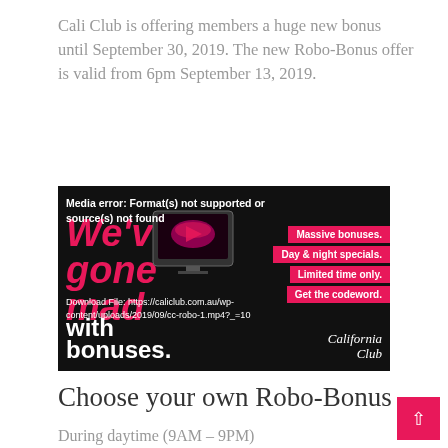Cali Club is offering members a huge new bonus until September 30, 2019. The new Robo-Bonus offer is valid from 6pm September 13, 2019.
[Figure (screenshot): Promotional video player showing a media error. Overlaid text reads: 'Media error: Format(s) not supported or source(s) not found'. Download File link shown: https://caliclub.com.au/wp-content/uploads/2019/09/cc-robo-1.mp4?_=10. Background shows California Club adult entertainment promotional graphic with large red italic text 'We've gone mad with bonuses.' and pink ribbon items listing 'Massive bonuses. Day & night specials. Limited time only. Get the codeword.' and California Club cursive logo.]
Choose your own Robo-Bonus
During daytime (9AM – 9PM)